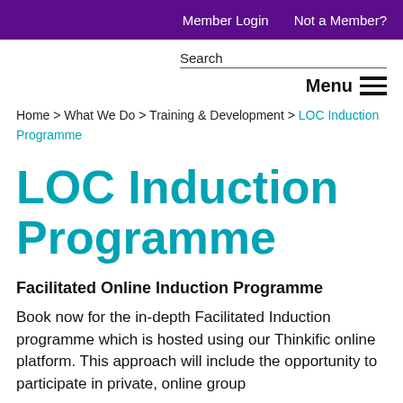Member Login   Not a Member?
Search
Menu
Home > What We Do > Training & Development > LOC Induction Programme
LOC Induction Programme
Facilitated Online Induction Programme
Book now for the in-depth Facilitated Induction programme which is hosted using our Thinkific online platform. This approach will include the opportunity to participate in private, online group